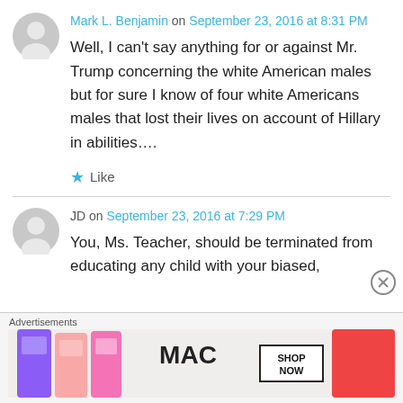Mark L. Benjamin on September 23, 2016 at 8:31 PM
Well, I can't say anything for or against Mr. Trump concerning the white American males but for sure I know of four white Americans males that lost their lives on account of Hillary in abilities….
★ Like
JD on September 23, 2016 at 7:29 PM
You, Ms. Teacher, should be terminated from educating any child with your biased,
Advertisements
[Figure (photo): MAC cosmetics advertisement showing lipsticks in purple, pink, and red with MAC logo and SHOP NOW button]